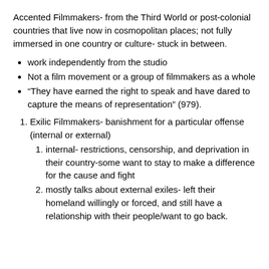Accented Filmmakers- from the Third World or post-colonial countries that live now in cosmopolitan places; not fully immersed in one country or culture- stuck in between.
work independently from the studio
Not a film movement or a group of filmmakers as a whole
“They have earned the right to speak and have dared to capture the means of representation” (979).
Exilic Filmmakers- banishment for a particular offense (internal or external)
internal- restrictions, censorship, and deprivation in their country-some want to stay to make a difference for the cause and fight
mostly talks about external exiles- left their homeland willingly or forced, and still have a relationship with their people/want to go back.